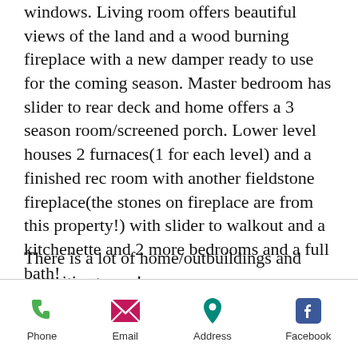windows. Living room offers beautiful views of the land and a wood burning fireplace with a new damper ready to use for the coming season. Master bedroom has slider to rear deck and home offers a 3 season room/screened porch. Lower level houses 2 furnaces(1 for each level) and a finished rec room with another fieldstone fireplace(the stones on fireplace are from this property!) with slider to walkout and a kitchenette and 2 more bedrooms and a full bath!
There is a lot of home/outbuildings and amenities to see!
Phone  Email  Address  Facebook